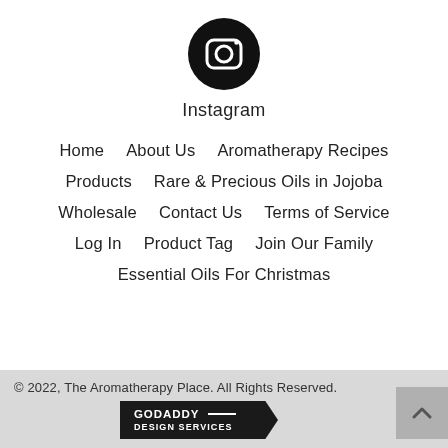[Figure (logo): Instagram icon: black circle with white camera outline logo]
Instagram
Home    About Us    Aromatherapy Recipes
Products    Rare & Precious Oils in Jojoba
Wholesale    Contact Us    Terms of Service
Log In    Product Tag    Join Our Family
Essential Oils For Christmas
© 2022, The Aromatherapy Place. All Rights Reserved.
[Figure (logo): GoDaddy Design Services badge — dark badge with text GODADDY and DESIGN SERVICES]
[Figure (other): Scroll to top button: grey square with upward chevron arrow]